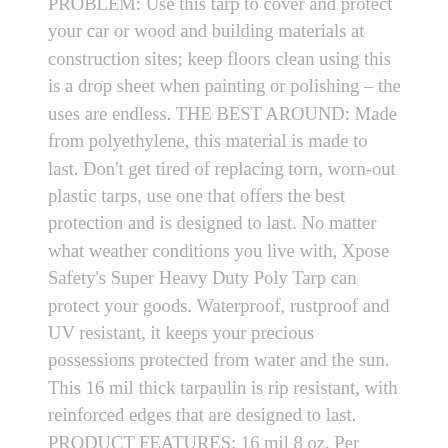PROBLEM: Use this tarp to cover and protect your car or wood and building materials at construction sites; keep floors clean using this is a drop sheet when painting or polishing – the uses are endless. THE BEST AROUND: Made from polyethylene, this material is made to last. Don't get tired of replacing torn, worn-out plastic tarps, use one that offers the best protection and is designed to last. No matter what weather conditions you live with, Xpose Safety's Super Heavy Duty Poly Tarp can protect your goods. Waterproof, rustproof and UV resistant, it keeps your precious possessions protected from water and the sun. This 16 mil thick tarpaulin is rip resistant, with reinforced edges that are designed to last. PRODUCT FEATURES: 16 mil 8 oz. Per Square Yard 16 x 16 Weave Count Waterproof Rip-resistant Reinforced Edges UV Resistant Grommets Every 18 Inches NO MATTER THE WEATHER Spread this tarpaulin over your car before a storm and avoid having to brush off the snow. Similarly,